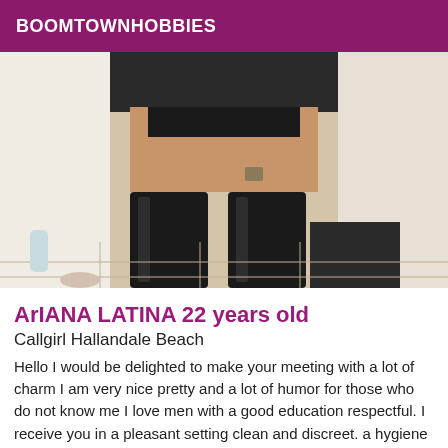BOOMTOWNHOBBIES
[Figure (photo): Photo of a person wearing black thigh-high boots standing indoors on a tiled floor]
ArIANA LATINA 22 years old
Callgirl Hallandale Beach
Hello I would be delighted to make your meeting with a lot of charm I am very nice pretty and a lot of humor for those who do not know me I love men with a good education respectful. I receive you in a pleasant setting clean and discreet. a hygiene impeccable soon available